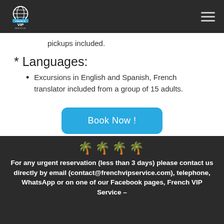French VIP Service logo and navigation
pickups included.
* Languages:
Excursions in English and Spanish, French translator included from a group of 15 adults.
Book Now !
🌴🌴🌴🌴
For any urgent reservation (less than 3 days) please contact us directly by email (contact@frenchvipservice.com), telephone, WhatsApp or on one of our Facebook pages, French VIP Service –